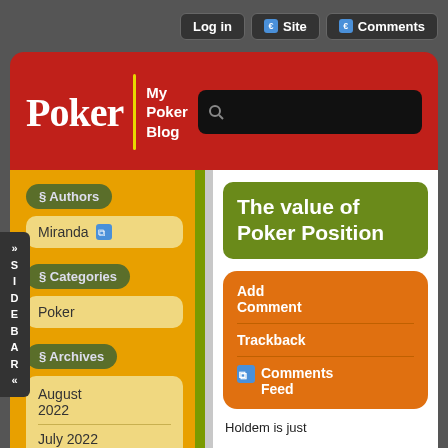Log in | Site | Comments
Poker | My Poker Blog
§ Authors
Miranda
§ Categories
Poker
§ Archives
August 2022
July 2022
June 2022
The value of Poker Position
Add Comment
Trackback
Comments Feed
Holdem is just